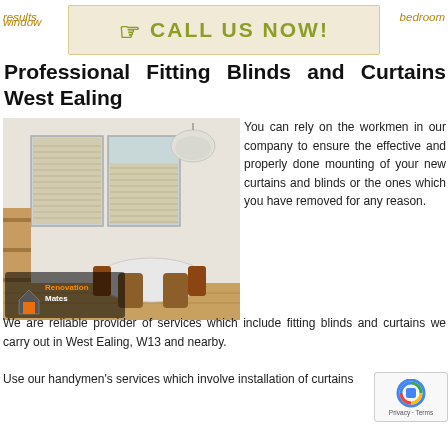results bedroom window
[Figure (other): Call Us Now banner button with hand pointer icon on cream/beige background]
Professional Fitting Blinds and Curtains West Ealing
[Figure (photo): Interior room photo showing window with honeycomb/cellular blinds, dining table with chairs, pendant light, and RenovationMates logo overlay]
You can rely on the workmen in our company to ensure the effective and properly done mounting of your new curtains and blinds or the ones which you have removed for any reason. We are reliable provider of services which include fitting blinds and curtains we carry out in West Ealing, W13 and nearby.
Use our handymen's services which involve installation of curtains